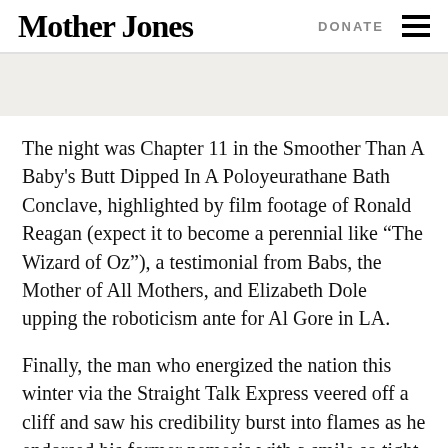Mother Jones | DONATE
The night was Chapter 11 in the Smoother Than A Baby's Butt Dipped In A Poloyeurathane Bath Conclave, highlighted by film footage of Ronald Reagan (expect it to become a perennial like “The Wizard of Oz”), a testimonial from Babs, the Mother of All Mothers, and Elizabeth Dole upping the roboticism ante for Al Gore in LA.
Finally, the man who energized the nation this winter via the Straight Talk Express veered off a cliff and saw his credibility burst into flames as he endorsed his former nemesis with a smile so tight